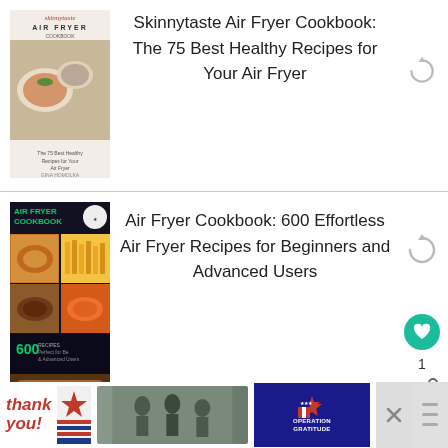[Figure (photo): Skinnytaste Air Fryer Cookbook book cover showing food on plates]
Skinnytaste Air Fryer Cookbook: The 75 Best Healthy Recipes for Your Air Fryer
[Figure (photo): Air Fryer Cookbook book cover with grid of fried food photos, green text]
Air Fryer Cookbook: 600 Effortless Air Fryer Recipes for Beginners and Advanced Users
[Figure (photo): Instant Vortex Air Fryer device book cover]
Instant Vortex Air Fryer 4 in 1
[Figure (photo): Advertisement banner: Thank you military appreciation, Operation Gratitude]